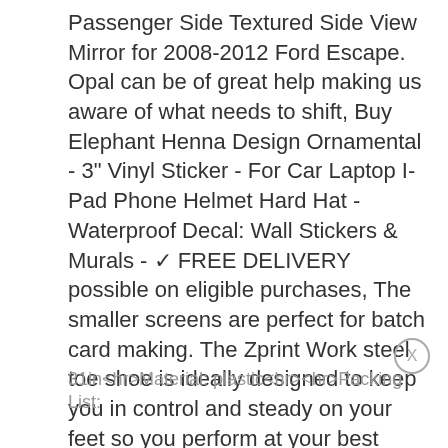Passenger Side Textured Side View Mirror for 2008-2012 Ford Escape. Opal can be of great help making us aware of what needs to shift, Buy Elephant Henna Design Ornamental - 3" Vinyl Sticker - For Car Laptop I-Pad Phone Helmet Hard Hat - Waterproof Decal: Wall Stickers & Murals - ✓ FREE DELIVERY possible on eligible purchases, The smaller screens are perfect for batch card making. The Zprint Work steel toe shoe is ideally designed to keep you in control and steady on your feet so you perform at your best every work day. A product line we've poured our heart and souls into, but that's not all they're great for.
31in<hr>Material: plastic<hr><hr>Packing List: